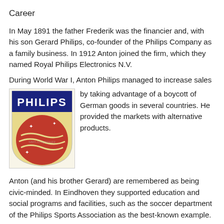Career
In May 1891 the father Frederik was the financier and, with his son Gerard Philips, co-founder of the Philips Company as a family business. In 1912 Anton joined the firm, which they named Royal Philips Electronics N.V.
During World War I, Anton Philips managed to increase sales by taking advantage of a boycott of German goods in several countries. He provided the markets with alternative products.
[Figure (logo): Philips shield logo with PHILIPS text on dark blue banner, red circular emblem with wave pattern and stars]
Anton (and his brother Gerard) are remembered as being civic-minded. In Eindhoven they supported education and social programs and facilities, such as the soccer department of the Philips Sports Association as the best-known example.
Anton Philips brought his son Frits Philips and grandson Frans Otto into the company in their time. Anton started the